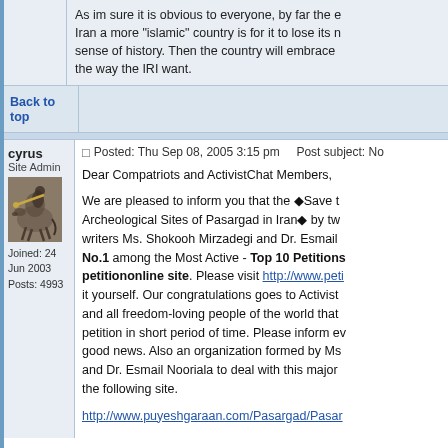As im sure it is obvious to everyone, by far the easiest way to make Iran a more "islamic" country is for it to lose its national pride and sense of history. Then the country will embrace the way the IRI want.
Back to top
cyrus
Site Admin
Joined: 24 Jun 2003
Posts: 4993
Posted: Thu Sep 08, 2005 3:15 pm    Post subject: No
Dear Compatriots and ActivistChat Members,

We are pleased to inform you that the ◆Save the Archeological Sites of Pasargad in Iran◆ by two writers Ms. Shokooh Mirzadegi and Dr. Esmail No.1 among the Most Active - Top 10 Petitions on petitiononline site. Please visit http://www.peti it yourself. Our congratulations goes to Activist and all freedom-loving people of the world that petition in short period of time. Please inform ev good news. Also an organization formed by Ms and Dr. Esmail Nooriala to deal with this major the following site.

http://www.puyeshgaraan.com/Pasargad/Pasar